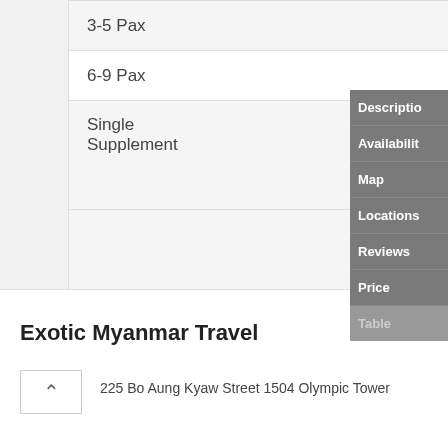| 3-5 Pax | 755 |
| 6-9 Pax | 620 |
| Single Supplement | 310 |
Description
Availability
Map
Locations
Reviews
Price
Table
Exotic Myanmar Travel
225 Bo Aung Kyaw Street 1504 Olympic Tower